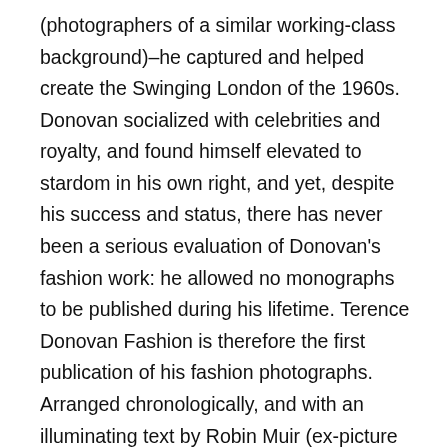(photographers of a similar working-class background)–he captured and helped create the Swinging London of the 1960s. Donovan socialized with celebrities and royalty, and found himself elevated to stardom in his own right, and yet, despite his success and status, there has never been a serious evaluation of Donovan's fashion work: he allowed no monographs to be published during his lifetime. Terence Donovan Fashion is therefore the first publication of his fashion photographs. Arranged chronologically, and with an illuminating text by Robin Muir (ex-picture editor of Vogue), the book considers Donovan in the social and cultural context of his time, showing how his constant experimentation not only set him apart, but also influenced generations to come. Designed by former art director of Nova magazine and Pentagram partner David Hillman, and with images selected by Hillman, the